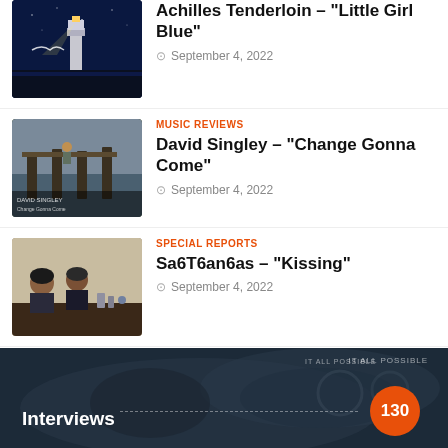[Figure (photo): Album art for Achilles Tenderloin Little Girl Blue – dark blue night sky with lighthouse]
Achilles Tenderloin – "Little Girl Blue"
September 4, 2022
MUSIC REVIEWS
[Figure (photo): Album art for David Singley Change Gonna Come – pier with pillars and water]
David Singley – "Change Gonna Come"
September 4, 2022
SPECIAL REPORTS
[Figure (photo): Photo of two people sitting at a table for Sa6T6an6as Kissing article]
Sa6T6an6as – "Kissing"
September 4, 2022
[Figure (photo): Dark moody close-up photo background for Interviews section banner with IT ALL POSSIBLE text in corner]
Interviews
130